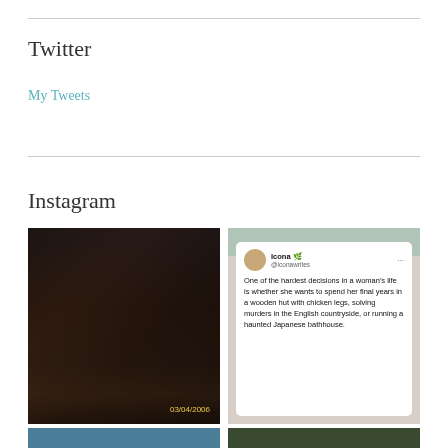Twitter
My Tweets
Instagram
[Figure (photo): A person seated in a wheelchair wearing a black top and red plaid skirt with black boots, indoors. Timestamp reads 03/04/2006 in yellow text.]
[Figure (screenshot): A screenshot of a tweet by Icona (@iconawrites) reading: 'One of the hardest decisions in a woman's life is whether she wants to spend her final years in a wooden hut with chicken legs, solving murders in the English countryside, or running a haunted Japanese bathhouse.']
[Figure (photo): Partial view of a photo with blue/teal tones, cut off at bottom of page.]
[Figure (photo): Partial view of a photo with dark green tones, cut off at bottom of page.]